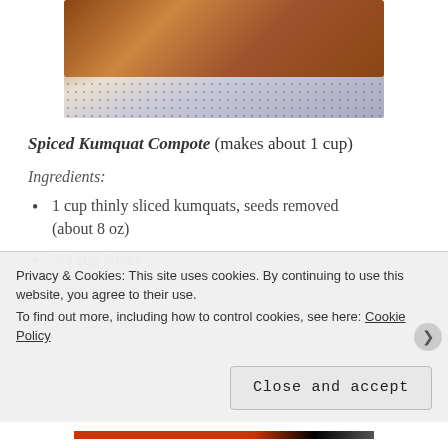[Figure (photo): Photo of a jar of kumquat compote on a blue and white checkered cloth, partially visible at top of page]
Spiced Kumquat Compote (makes about 1 cup)
Ingredients:
1 cup thinly sliced kumquats, seeds removed (about 8 oz)
3/4 cup honey
1 cup water
1 cinnamon stick (partial, cut off)
Privacy & Cookies: This site uses cookies. By continuing to use this website, you agree to their use. To find out more, including how to control cookies, see here: Cookie Policy
Close and accept